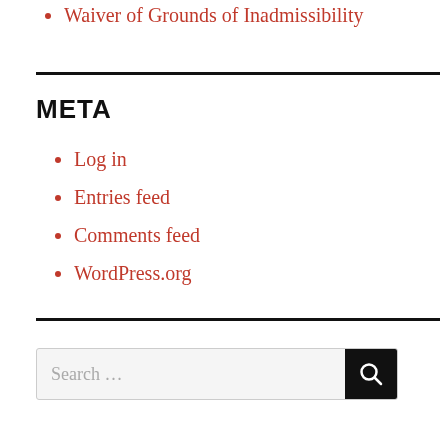Waiver of Grounds of Inadmissibility
META
Log in
Entries feed
Comments feed
WordPress.org
Search …